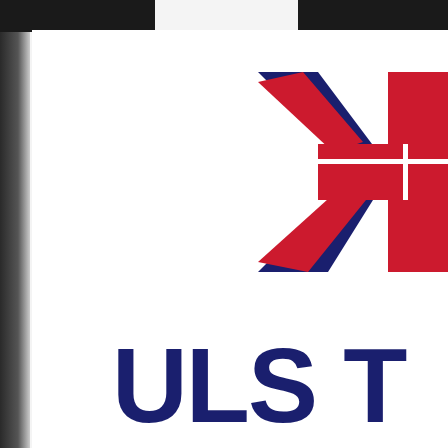[Figure (logo): Partial view of a UK Union Jack flag logo (red cross with blue and red diagonal elements) cropped at upper right, with large bold dark blue text 'JUST' partially visible at the bottom — appears to be a UK government or British-themed publication cover]